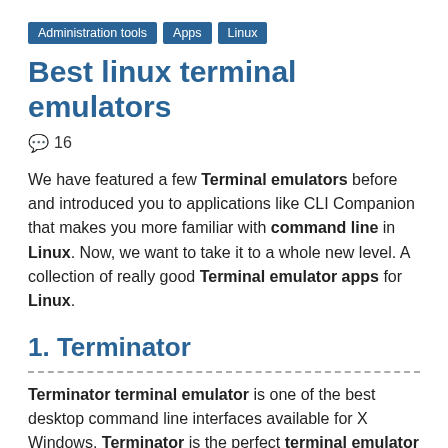Administration tools | Apps | Linux
Best linux terminal emulators
💬 16
We have featured a few Terminal emulators before and introduced you to applications like CLI Companion that makes you more familiar with command line in Linux. Now, we want to take it to a whole new level. A collection of really good Terminal emulator apps for Linux.
1. Terminator
Terminator terminal emulator is one of the best desktop command line interfaces available for X Windows. Terminator is the perfect terminal emulator for power users due to the